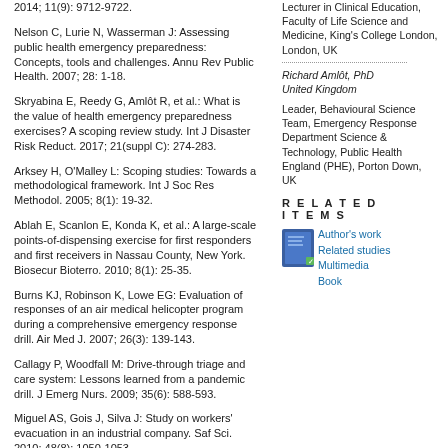2014; 11(9): 9712-9722.
Nelson C, Lurie N, Wasserman J: Assessing public health emergency preparedness: Concepts, tools and challenges. Annu Rev Public Health. 2007; 28: 1-18.
Skryabina E, Reedy G, Amlôt R, et al.: What is the value of health emergency preparedness exercises? A scoping review study. Int J Disaster Risk Reduct. 2017; 21(suppl C): 274-283.
Arksey H, O'Malley L: Scoping studies: Towards a methodological framework. Int J Soc Res Methodol. 2005; 8(1): 19-32.
Ablah E, Scanlon E, Konda K, et al.: A large-scale points-of-dispensing exercise for first responders and first receivers in Nassau County, New York. Biosecur Bioterro. 2010; 8(1): 25-35.
Burns KJ, Robinson K, Lowe EG: Evaluation of responses of an air medical helicopter program during a comprehensive emergency response drill. Air Med J. 2007; 26(3): 139-143.
Callagy P, Woodfall M: Drive-through triage and care system: Lessons learned from a pandemic drill. J Emerg Nurs. 2009; 35(6): 588-593.
Miguel AS, Gois J, Silva J: Study on workers' evacuation in an industrial company. Saf Sci. 2010; 48(8): 1050-1053.
Lecturer in Clinical Education, Faculty of Life Science and Medicine, King's College London, London, UK
Richard Amlôt, PhD
United Kingdom
Leader, Behavioural Science Team, Emergency Response Department Science & Technology, Public Health England (PHE), Porton Down, UK
RELATED ITEMS
[Figure (illustration): Book icon with green checkmark badge]
Author's work
Related studies
Multimedia
Book